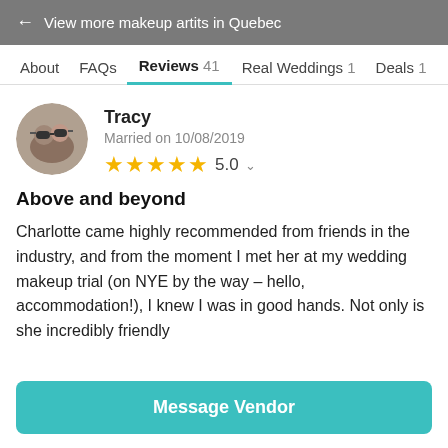← View more makeup artits in Quebec
About   FAQs   Reviews 41   Real Weddings 1   Deals 1
[Figure (photo): Circular avatar photo of couple (Tracy) with sunglasses]
Tracy
Married on 10/08/2019
★★★★★ 5.0
Above and beyond
Charlotte came highly recommended from friends in the industry, and from the moment I met her at my wedding makeup trial (on NYE by the way – hello, accommodation!), I knew I was in good hands. Not only is she incredibly friendly
Message Vendor